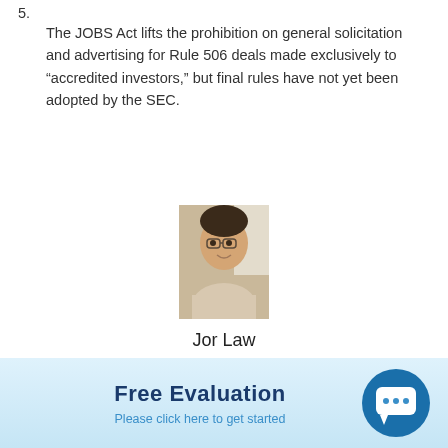5. The JOBS Act lifts the prohibition on general solicitation and advertising for Rule 506 deals made exclusively to “accredited investors,” but final rules have not yet been adopted by the SEC.
[Figure (photo): Headshot photo of author Jor Law, an Asian man wearing glasses and a light-colored shirt.]
Jor Law
View Full Profile
DISCLAIMER: The views expressed in this article are solely the views of the author and do not necessarily represent the views of the publisher, its employees, or its affiliates. The information found on this website is intended to be used
Free Evaluation
Please click here to get started